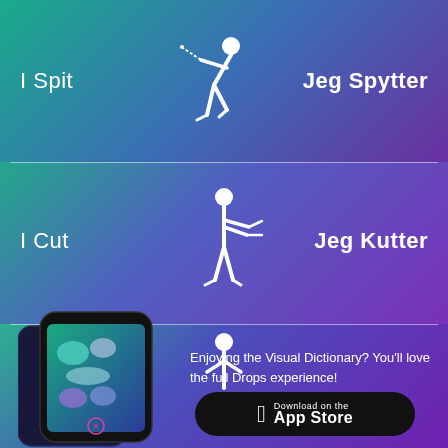I Spit
[Figure (illustration): White silhouette of a person bending forward spitting]
Jeg Spytter
I Cut
[Figure (illustration): White silhouette of a person using scissors]
Jeg Kutter
[Figure (illustration): White silhouette of a person's upper body (third vocabulary item, partially visible)]
[Figure (screenshot): Smartphone showing the Drops app interface with colorful word learning game]
Enjoying the Visual Dictionary? You'll love the full Drops experience!
[Figure (logo): Download on the App Store button]